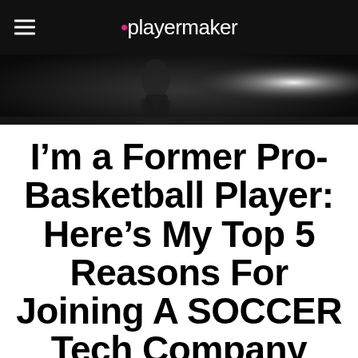playermaker
[Figure (photo): Dark/black and white hero image of a basketball player in motion with a bright light flare in the background]
I'm a Former Pro-Basketball Player: Here's My Top 5 Reasons For Joining A SOCCER Tech Company